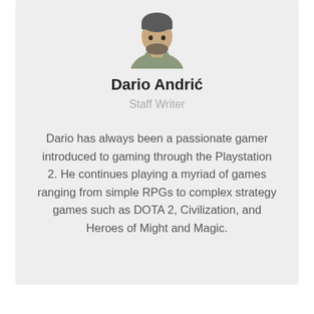[Figure (photo): Profile photo of Dario Andrić, a man with a beard wearing a green/olive t-shirt, shown from shoulders up, partially visible at top of card.]
Dario Andrić
Staff Writer
Dario has always been a passionate gamer introduced to gaming through the Playstation 2. He continues playing a myriad of games ranging from simple RPGs to complex strategy games such as DOTA 2, Civilization, and Heroes of Might and Magic.